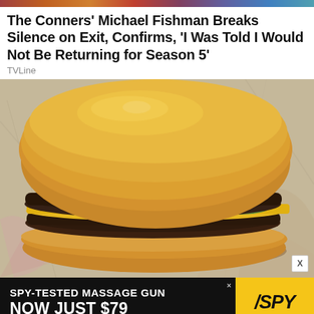[Figure (photo): Colored strip at top of page, partial image of people]
The Conners' Michael Fishman Breaks Silence on Exit, Confirms, 'I Was Told I Would Not Be Returning for Season 5'
TVLine
[Figure (photo): Close-up photo of a fast food double cheeseburger with cheese and pickle, sitting on crinkled white paper wrapper with red graphics]
[Figure (illustration): Advertisement banner: SPY-TESTED MASSAGE GUN NOW JUST $79 with SPY logo on yellow background]